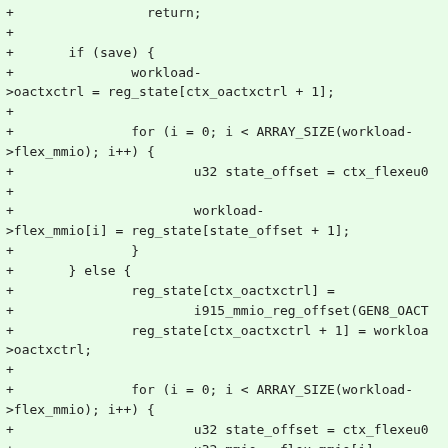+                 return;
+
+       if (save) {
+               workload->oactxctrl = reg_state[ctx_oactxctrl + 1];
+
+               for (i = 0; i < ARRAY_SIZE(workload->flex_mmio); i++) {
+                       u32 state_offset = ctx_flexeu0
+
+                       workload->flex_mmio[i] = reg_state[state_offset + 1];
+               }
+       } else {
+               reg_state[ctx_oactxctrl] =
+                       i915_mmio_reg_offset(GEN8_OACT
+               reg_state[ctx_oactxctrl + 1] = workloa>oactxctrl;
+
+               for (i = 0; i < ARRAY_SIZE(workload->flex_mmio); i++) {
+                       u32 state_offset = ctx_flexeu0
+                       u32 mmio = flex_mmio[i];
+
+                       reg_state[state_offset] = mmio